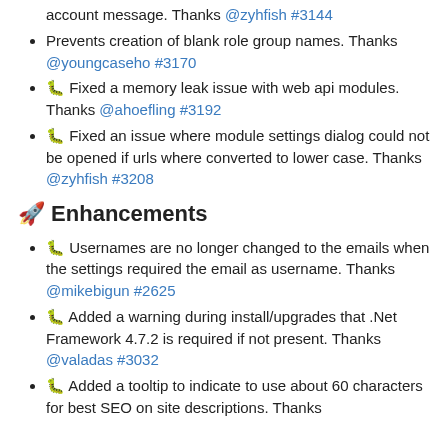account message. Thanks @zyhfish #3144
Prevents creation of blank role group names. Thanks @youngcaseho #3170
🐛 Fixed a memory leak issue with web api modules. Thanks @ahoefling #3192
🐛 Fixed an issue where module settings dialog could not be opened if urls where converted to lower case. Thanks @zyhfish #3208
🚀 Enhancements
🐛 Usernames are no longer changed to the emails when the settings required the email as username. Thanks @mikebigun #2625
🐛 Added a warning during install/upgrades that .Net Framework 4.7.2 is required if not present. Thanks @valadas #3032
🐛 Added a tooltip to indicate to use about 60 characters for best SEO on site descriptions. Thanks